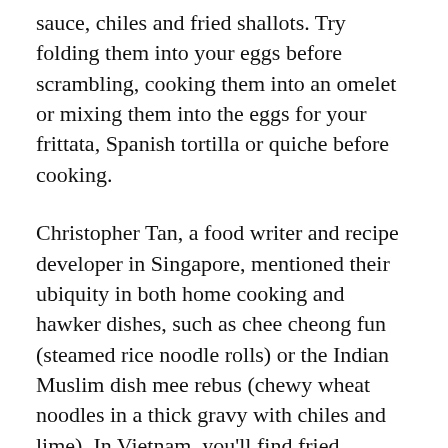sauce, chiles and fried shallots. Try folding them into your eggs before scrambling, cooking them into an omelet or mixing them into the eggs for your frittata, Spanish tortilla or quiche before cooking.
Christopher Tan, a food writer and recipe developer in Singapore, mentioned their ubiquity in both home cooking and hawker dishes, such as chee cheong fun (steamed rice noodle rolls) or the Indian Muslim dish mee rebus (chewy wheat noodles in a thick gravy with chiles and lime). In Vietnam, you'll find fried shallots topping bowls of pho tron (a dry-style pho) or seasoning bun noodle salads.
But they can also be a last-minute garnish for